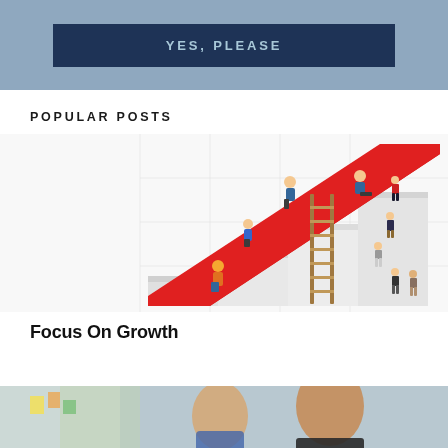[Figure (other): Dark navy blue button with text YES, PLEASE on a steel blue background banner]
POPULAR POSTS
[Figure (illustration): Isometric illustration showing people climbing red bar chart bars, with a ladder, and small figures standing to the right]
Focus On Growth
[Figure (photo): Photo of two men in a business/office setting, partially visible at bottom of page]